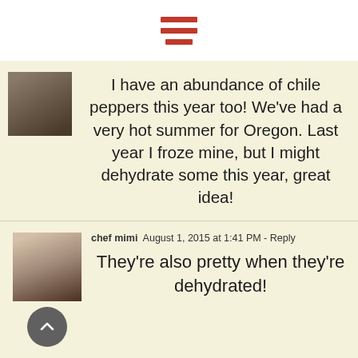[Figure (other): Hamburger menu icon — three horizontal red bars]
I have an abundance of chile peppers this year too! We've had a very hot summer for Oregon. Last year I froze mine, but I might dehydrate some this year, great idea!
chef mimi  August 1, 2015 at 1:41 PM - Reply
They're also pretty when they're dehydrated!